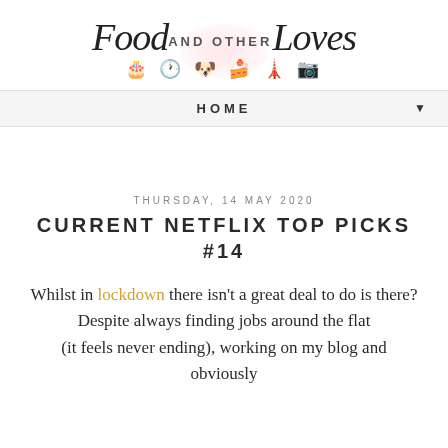[Figure (logo): Food AND OTHER Loves blog logo with cursive script text and small icons (cake, clock, dog, mixer, Big Ben, camera)]
HOME ▼
THURSDAY, 14 MAY 2020
CURRENT NETFLIX TOP PICKS #14
Whilst in lockdown there isn't a great deal to do is there? Despite always finding jobs around the flat (it feels never ending), working on my blog and obviously